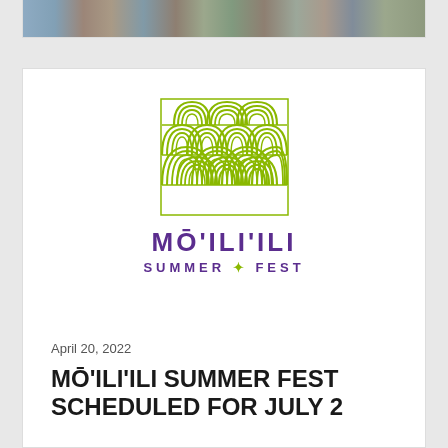[Figure (photo): Aerial/crowd photo strip at the top of the page]
[Figure (logo): Mo'ili'ili Summer Fest logo — olive/yellow-green wave pattern grid above purple text]
April 20, 2022
MŌ'ILI'ILI SUMMER FEST SCHEDULED FOR JULY 2
The annual celebration returns after a two-year hiatus